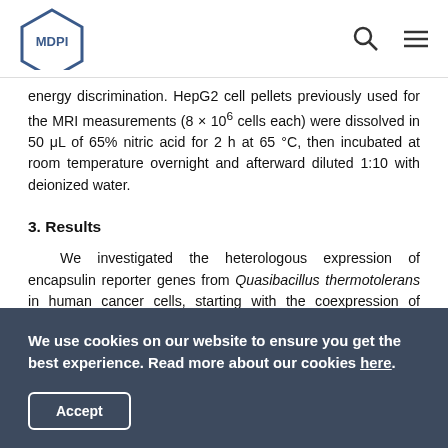MDPI
energy discrimination. HepG2 cell pellets previously used for the MRI measurements (8 × 10^6 cells each) were dissolved in 50 μL of 65% nitric acid for 2 h at 65 °C, then incubated at room temperature overnight and afterward diluted 1:10 with deionized water.
3. Results
We investigated the heterologous expression of encapsulin reporter genes from Quasibacillus thermotolerans in human cancer cells, starting with the coexpression of encapsulin nanocompartments with the fluorescent reporter cargo protein. For this purpose, HepG2 cells were transiently cotransfected
We use cookies on our website to ensure you get the best experience. Read more about our cookies here.
Accept